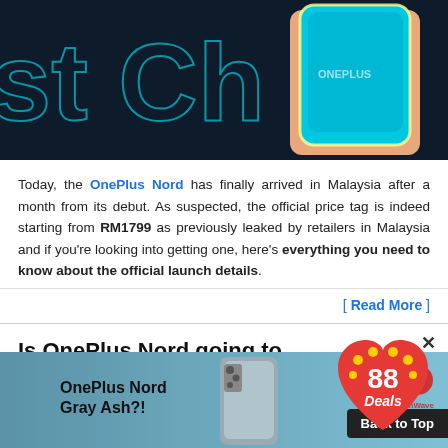[Figure (photo): Person holding a blue OnePlus phone against a dark background with cyan text elements visible]
Today, the OnePlus Nord has finally arrived in Malaysia after a month from its debut. As suspected, the official price tag is indeed starting from RM1799 as previously leaked by retailers in Malaysia and if you're looking into getting one, here's everything you need to know about the official launch details.
[ Read More ]
Is OnePlus Nord going to launch another colour variant?!
Aug 12, 2020
[Figure (photo): OnePlus Nord in Gray Ash color variant shown against a blurred background, with TechWave logo and Back to Top button overlaid]